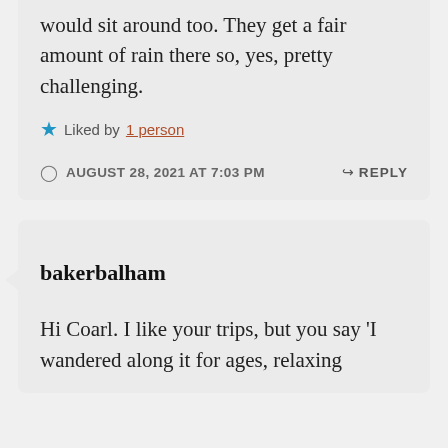would sit around too. They get a fair amount of rain there so, yes, pretty challenging.
★ Liked by 1 person
AUGUST 28, 2021 AT 7:03 PM  ↳ REPLY
bakerbalham
Hi Coarl. I like your trips, but you say 'I wandered along it for ages, relaxing